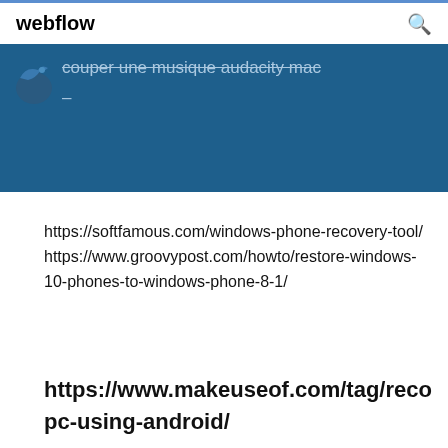webflow
[Figure (screenshot): Dark blue banner with a bird/twitter-like icon on the left and strikethrough text reading 'couper une musique audacity mac' with a dash below, on a dark blue background.]
https://softfamous.com/windows-phone-recovery-tool/ https://www.groovypost.com/howto/restore-windows-10-phones-to-windows-phone-8-1/
https://www.makeuseof.com/tag/reco pc-using-android/